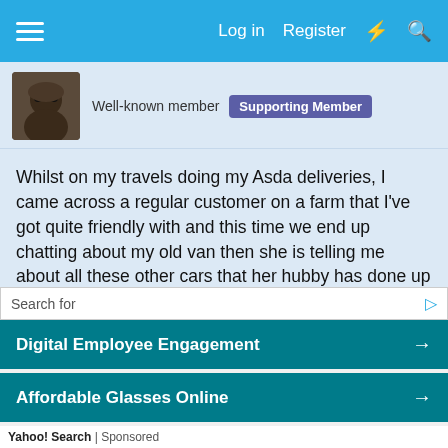Log in  Register
Well-known member  Supporting Member
Whilst on my travels doing my Asda deliveries, I came across a regular customer on a farm that I've got quite friendly with and this time we end up chatting about my old van then she is telling me about all these other cars that her hubby has done up and the latest one is an Escort that he's gonna keep. So she asks would I like to see it and I've feigned interest as it was supposedly ten yards away in a large barn. We go towards this barn where the door is slightly ajar and she rolls the big door back another ten feet and I've not seen anything like this before, the escort looks like brand new and it's in a
Search for
Digital Employee Engagement →
Affordable Glasses Online →
Yahoo! Search | Sponsored